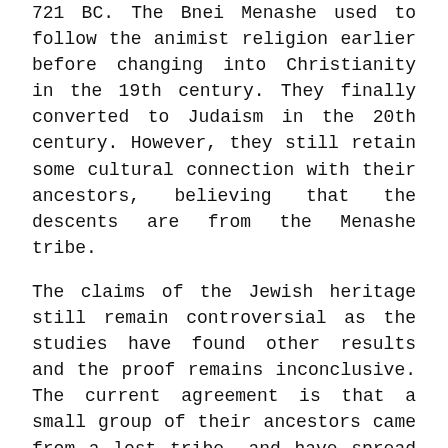721 BC. The Bnei Menashe used to follow the animist religion earlier before changing into Christianity in the 19th century. They finally converted to Judaism in the 20th century. However, they still retain some cultural connection with their ancestors, believing that the descents are from the Menashe tribe.
The claims of the Jewish heritage still remain controversial as the studies have found other results and the proof remains inconclusive. The current agreement is that a small group of their ancestors came from a lost tribe, and have spread the Jewish traditions to a large number of people. This may clarify both the cultural roots of Jewish and the lack of genetic evidence.
3. The Islanders Descended from